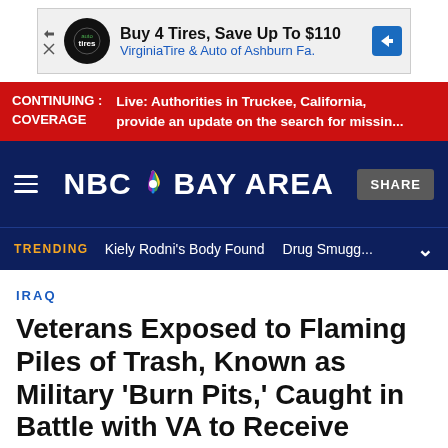[Figure (other): Advertisement banner: Buy 4 Tires, Save Up To $110 — Virginia Tire & Auto of Ashburn Fa.]
CONTINUING: Live: Authorities in Truckee, California, COVERAGE provide an update on the search for missin...
[Figure (logo): NBC Bay Area logo with peacock icon, hamburger menu, and SHARE button]
TRENDING  Kiely Rodni's Body Found  Drug Smugg...
IRAQ
Veterans Exposed to Flaming Piles of Trash, Known as Military 'Burn Pits,' Caught in Battle with VA to Receive Medical Care